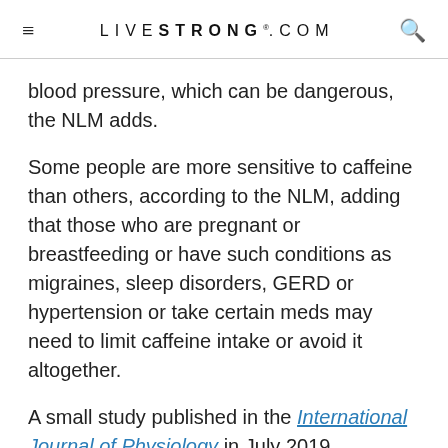LIVESTRONG.COM
blood pressure, which can be dangerous, the NLM adds.
Some people are more sensitive to caffeine than others, according to the NLM, adding that those who are pregnant or breastfeeding or have such conditions as migraines, sleep disorders, GERD or hypertension or take certain meds may need to limit caffeine intake or avoid it altogether.
A small study published in the International Journal of Physiology in July 2019 evaluated the effects that energy drinks had on the blood pressure and heart rate of 40 study participants. One hour after